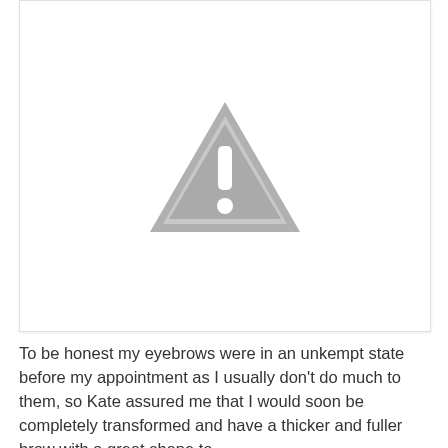[Figure (other): A placeholder image box with a grey warning/exclamation triangle icon in the center, indicating a missing or unavailable image.]
To be honest my eyebrows were in an unkempt state before my appointment as I usually don't do much to them, so Kate assured me that I would soon be completely transformed and have a thicker and fuller brow with a great shape to